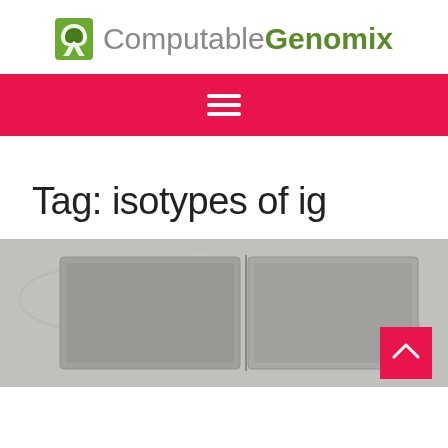Computable Genomix
[Figure (other): Red navigation bar with hamburger menu icon (three white horizontal lines)]
Tag: isotypes of ig
[Figure (photo): Photograph of a gel electrophoresis tray or mold with two rectangular recesses, gray/silver colored on a textured surface, with a red back-to-top button in the lower right corner]